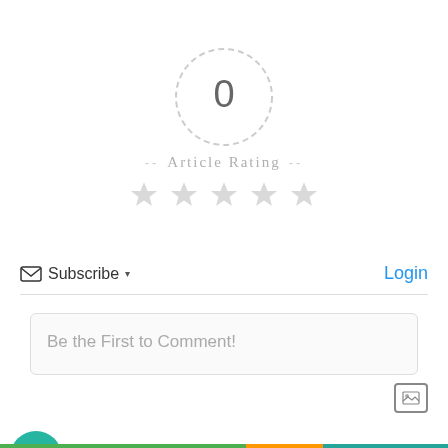[Figure (infographic): Article rating widget showing a dashed circle with '0' inside, dashes on both sides, 'Article Rating' label below, and five empty gray stars beneath]
Subscribe ▾
Login
Be the First to Comment!
[Figure (other): Image upload icon button (small square with mountain/photo icon)]
COMMENTS
[Figure (other): Teal circular chat bubble button icon on the left side]